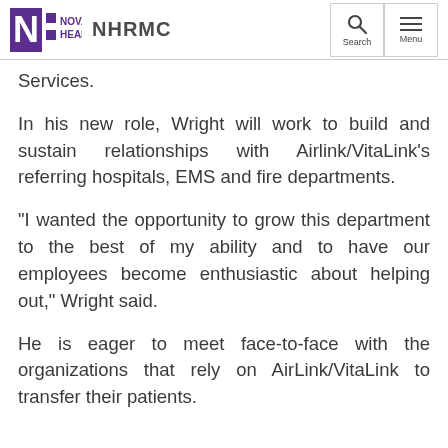Novant Health NHRMC
Services.
In his new role, Wright will work to build and sustain relationships with Airlink/VitaLink’s referring hospitals, EMS and fire departments.
“I wanted the opportunity to grow this department to the best of my ability and to have our employees become enthusiastic about helping out,” Wright said.
He is eager to meet face-to-face with the organizations that rely on AirLink/VitaLink to transfer their patients.